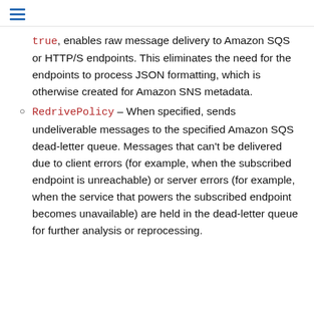≡
true, enables raw message delivery to Amazon SQS or HTTP/S endpoints. This eliminates the need for the endpoints to process JSON formatting, which is otherwise created for Amazon SNS metadata.
RedrivePolicy – When specified, sends undeliverable messages to the specified Amazon SQS dead-letter queue. Messages that can't be delivered due to client errors (for example, when the subscribed endpoint is unreachable) or server errors (for example, when the service that powers the subscribed endpoint becomes unavailable) are held in the dead-letter queue for further analysis or reprocessing.